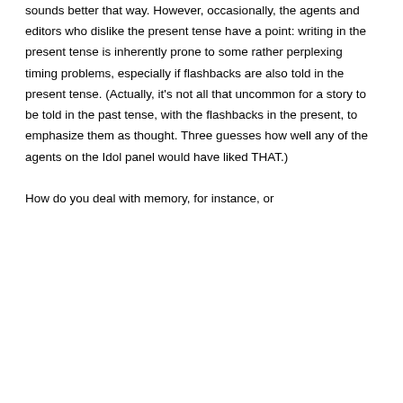sounds better that way. However, occasionally, the agents and editors who dislike the present tense have a point: writing in the present tense is inherently prone to some rather perplexing timing problems, especially if flashbacks are also told in the present tense. (Actually, it's not all that uncommon for a story to be told in the past tense, with the flashbacks in the present, to emphasize them as thought. Three guesses how well any of the agents on the Idol panel would have liked THAT.)

How do you deal with memory, for instance, or